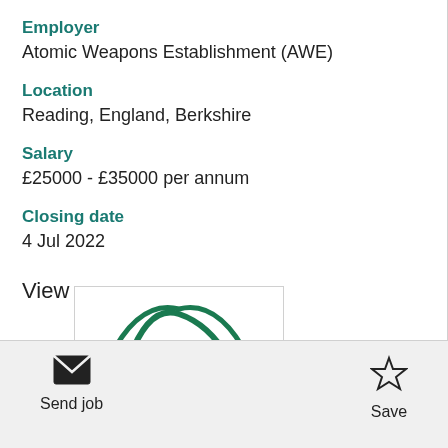Employer
Atomic Weapons Establishment (AWE)
Location
Reading, England, Berkshire
Salary
£25000 - £35000 per annum
Closing date
4 Jul 2022
View more
[Figure (logo): Partial logo visible — green arch/cloud shapes on white background]
Send job
Save